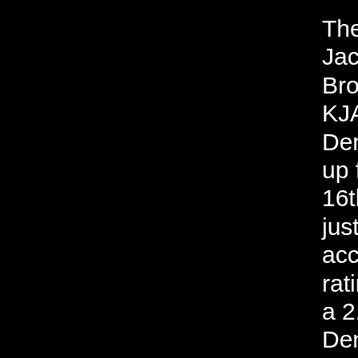The U.S.'s oldest Jack station, NRC Broadcasting-owned KJAC 105.5 in Denver, has moved up from 23rd place to 16th in its market in just over a year, according to Arbitron ratings. It maintains a 2.4% share of the Denver market (Denver's No. 1 station, newsradio KOA, has a 6.9% share). Infinity's Dallas station, which has been on the Jack beat since July, 2004, ranks 12th overall but is first...